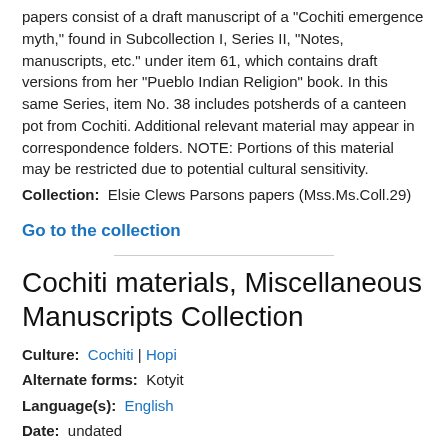papers consist of a draft manuscript of a "Cochiti emergence myth," found in Subcollection I, Series II, "Notes, manuscripts, etc." under item 61, which contains draft versions from her "Pueblo Indian Religion" book. In this same Series, item No. 38 includes potsherds of a canteen pot from Cochiti. Additional relevant material may appear in correspondence folders. NOTE: Portions of this material may be restricted due to potential cultural sensitivity.
Collection:  Elsie Clews Parsons papers (Mss.Ms.Coll.29)
Go to the collection
Cochiti materials, Miscellaneous Manuscripts Collection
Culture:  Cochiti | Hopi
Alternate forms:  Kotyit
Language(s):  English
Date:  undated
Contributor:  Kurath, Gertrude Prokosch
Subject:  Music | Dance
Type:  Text
Genre:  Songs | Musical scores